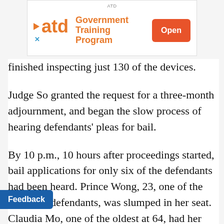[Figure (screenshot): ATD Government Training Program advertisement banner with orange ATD logo, play icon, and red Open button]
finished inspecting just 130 of the devices.
Judge So granted the request for a three-month adjournment, and began the slow process of hearing defendants' pleas for bail.
By 10 p.m., 10 hours after proceedings started, bail applications for only six of the defendants had been heard. Prince Wong, 23, one of the youngest defendants, was slumped in her seat. Claudia Mo, one of the oldest at 64, had her head on her lap.
The submissions went deep into the night. At 1:44 a.m. everyone in the court was startled by a loud ba dant Clarisse Yeung, a pro-democracy